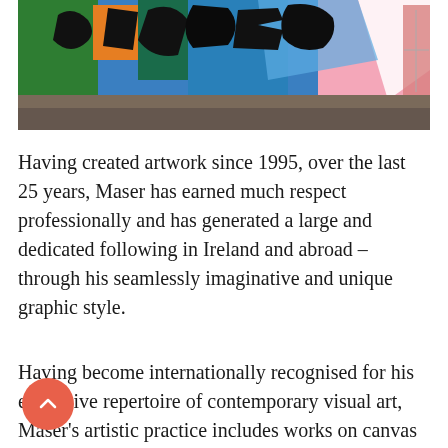[Figure (photo): A colorful street mural with bold black graffiti lettering over vibrant blue, green, orange, and pink geometric shapes on a wall, with a wet pavement road in the foreground.]
Having created artwork since 1995, over the last 25 years, Maser has earned much respect professionally and has generated a large and dedicated following in Ireland and abroad – through his seamlessly imaginative and unique graphic style.
Having become internationally recognised for his expansive repertoire of contemporary visual art, Maser's artistic practice includes works on canvas